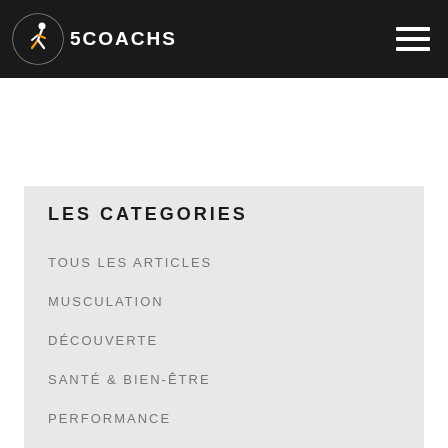5COACHS
LES CATEGORIES
TOUS LES ARTICLES
MUSCULATION
DÉCOUVERTE
SANTÉ & BIEN-ÊTRE
PERFORMANCE
NUTRITION